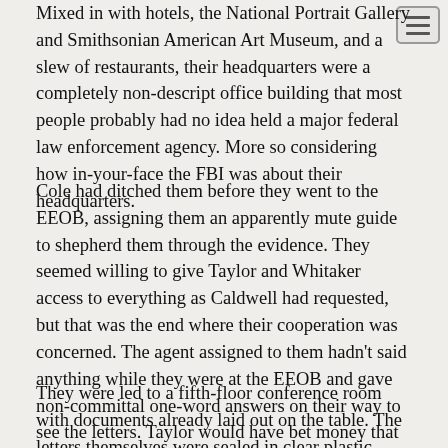Mixed in with hotels, the National Portrait Gallery and Smithsonian American Art Museum, and a slew of restaurants, their headquarters were a completely non-descript office building that most people probably had no idea held a major federal law enforcement agency. More so considering how in-your-face the FBI was about their headquarters.
Cole had ditched them before they went to the EEOB, assigning them an apparently mute guide to shepherd them through the evidence. They seemed willing to give Taylor and Whitaker access to everything as Caldwell had requested, but that was the end where their cooperation was concerned. The agent assigned to them hadn't said anything while they were at the EEOB and gave non-committal one-word answers on their way to see the letters. Taylor would have bet money that any questions beyond basic directions would get them the same response.
They were led to a fifth-floor conference room with documents already laid out on the table. The letters themselves were sealed in clear plastic evidence bags, so they could read them without touching or disturbing